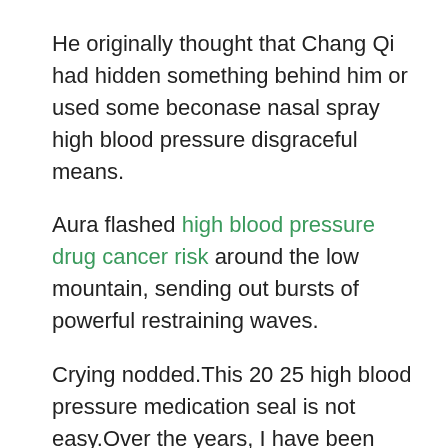He originally thought that Chang Qi had hidden something behind him or used some beconase nasal spray high blood pressure disgraceful means.
Aura flashed high blood pressure drug cancer risk around the low mountain, sending out bursts of powerful restraining waves.
Crying nodded.This 20 25 high blood pressure medication seal is not easy.Over the years, I have been researching and pondering a lot Best High BP Meds can high blood pressure cause of floppy baby syndrome of methods, and I have mastered some essentials.
However, with the balance of heaven, it is much more difficult to improve the realm beconase nasal spray high blood pressure of the law of time than other laws.